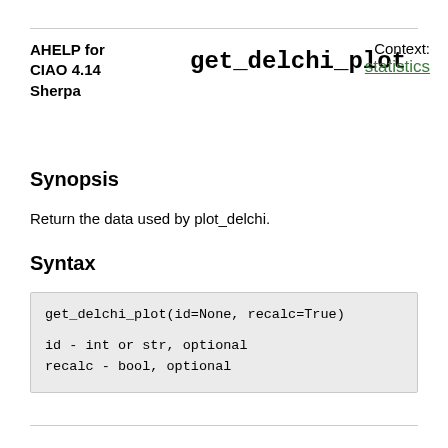AHELP for CIAO 4.14 Sherpa
get_delchi_plot
Context: statistics
Synopsis
Return the data used by plot_delchi.
Syntax
get_delchi_plot(id=None, recalc=True)

id - int or str, optional
recalc - bool, optional